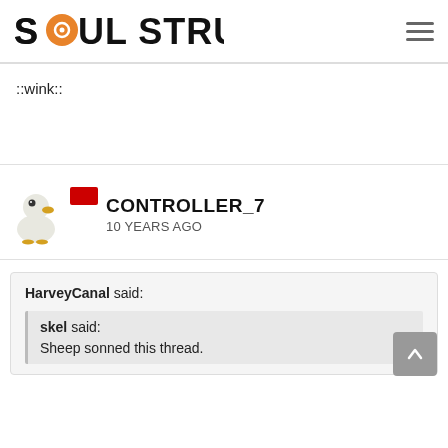SOUL STRUT
::wink::
CONTROLLER_7
10 YEARS AGO
HarveyCanal said:
skel said:
Sheep sonned this thread.